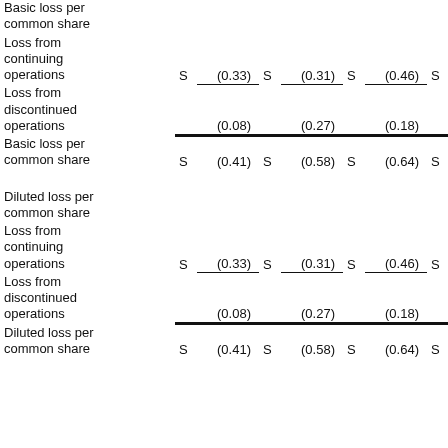|  |  |  |  |  |  |  |  |
| --- | --- | --- | --- | --- | --- | --- | --- |
| Basic loss per common share |  |  |  |  |  |  |  |
| Loss from continuing operations | S | (0.33) | S | (0.31) | S | (0.46) | S |
| Loss from discontinued operations |  | (0.08) |  | (0.27) |  | (0.18) |  |
| Basic loss per common share | S | (0.41) | S | (0.58) | S | (0.64) | S |
| Diluted loss per common share |  |  |  |  |  |  |  |
| Loss from continuing operations | S | (0.33) | S | (0.31) | S | (0.46) | S |
| Loss from discontinued operations |  | (0.08) |  | (0.27) |  | (0.18) |  |
| Diluted loss per common share | S | (0.41) | S | (0.58) | S | (0.64) | S |